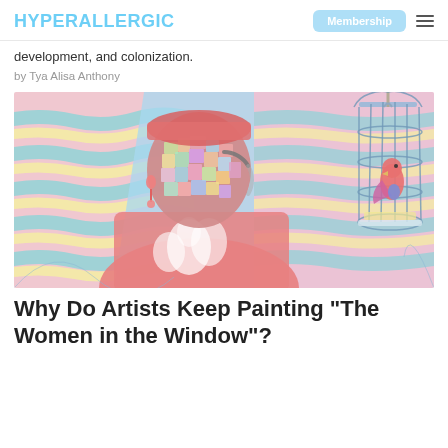HYPERALLERGIC
development, and colonization.
by Tya Alisa Anthony
[Figure (illustration): A colorful illustration of a figure with a fragmented, mosaic-like face wearing a red patterned shirt, with a bird in a cage to the right. The background features pastel pink, blue, yellow and teal wavy stripes. A loading spinner is overlaid in the center of the image.]
Why Do Artists Keep Painting “The Women in the Window”?